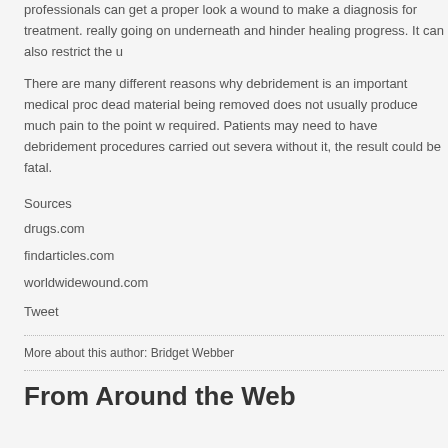professionals can get a proper look a wound to make a diagnosis for treatment. really going on underneath and hinder healing progress. It can also restrict the u
There are many different reasons why debridement is an important medical proc dead material being removed does not usually produce much pain to the point w required. Patients may need to have debridement procedures carried out severa without it, the result could be fatal.
Sources
drugs.com
findarticles.com
worldwidewound.com
Tweet
More about this author: Bridget Webber
From Around the Web